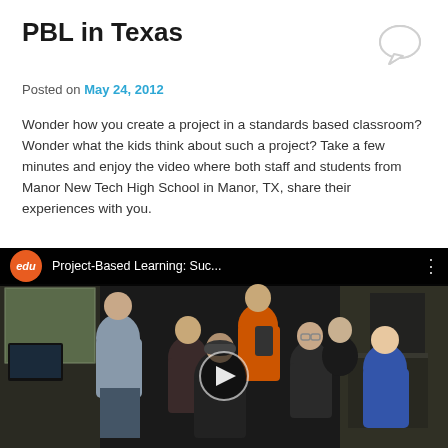PBL in Texas
Posted on May 24, 2012
Wonder how you create a project in a standards based classroom? Wonder what the kids think about such a project? Take a few minutes and enjoy the video where both staff and students from Manor New Tech High School in Manor, TX, share their experiences with you.
[Figure (screenshot): YouTube video thumbnail showing a group of students from Manor New Tech High School. The video is titled 'Project-Based Learning: Suc...' with the YouTube edu logo (orange circle with 'edu' text). A play button is visible in the center of the thumbnail.]